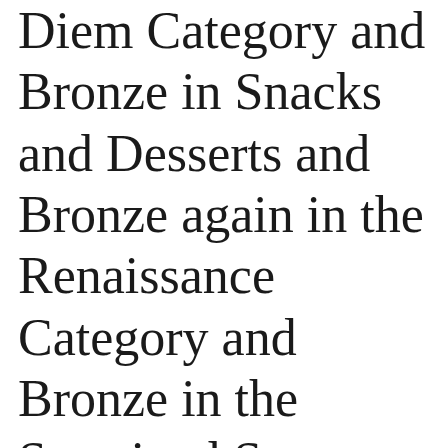Diem Category and Bronze in Snacks and Desserts and Bronze again in the Renaissance Category and Bronze in the Sustained Success category.